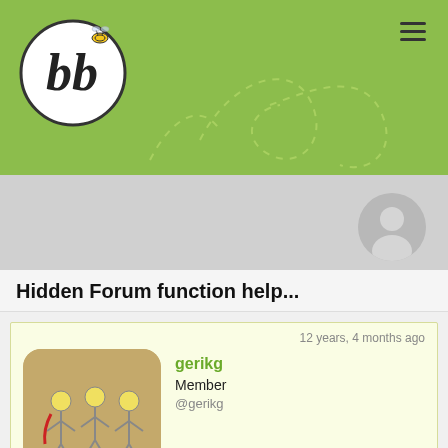[Figure (logo): bbPress logo - circular black and white bb logo with bee illustration, on green background with dashed decorative lines]
Hidden Forum function help...
12 years, 4 months ago
gerikg
Member
@gerikg
I have hidden forum plugin: http://bbpress.org/plugins/topic/hidden-forums/

How do I do If this is a hidden forum print out “this is a hidden forum”?
12 years, 4 months ago
johnbiler